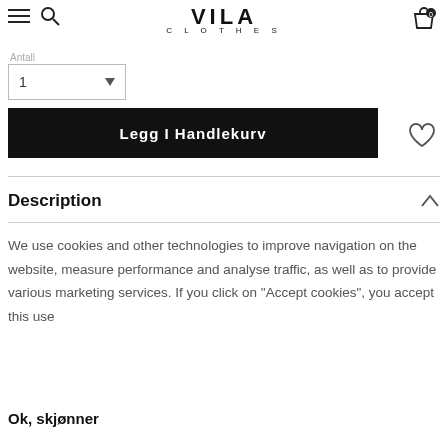VILA CLOTHES
Antall
1
Legg I Handlekurv
Description
We use cookies and other technologies to improve navigation on the website, measure performance and analyse traffic, as well as to provide various marketing services. If you click on "Accept cookies", you accept this use
Ok, skjønner